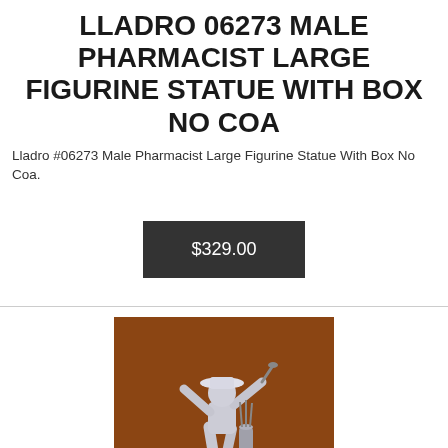LLADRO 06273 MALE PHARMACIST LARGE FIGURINE STATUE WITH BOX NO COA
Lladro #06273 Male Pharmacist Large Figurine Statue With Box No Coa.
$329.00
[Figure (photo): Photo of a Lladro porcelain figurine of a golfer mid-swing wearing a wide-brim hat, with a golf bag at their feet, displayed against a brown/wood-toned background.]